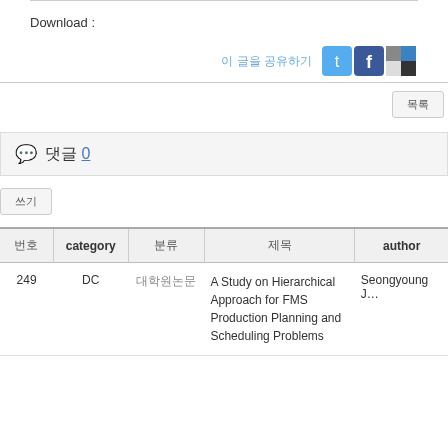Download :
이 글을 공유하기
[Figure (screenshot): Social sharing icons: Twitter, Facebook, and another service]
댓글 0
쓰기
| 번호 | category | 분류 | 제목 | author |
| --- | --- | --- | --- | --- |
| 249 | DC | 대학원논문 | A Study on Hierarchical Approach for FMS Production Planning and Scheduling Problems | Seongyoung J… |